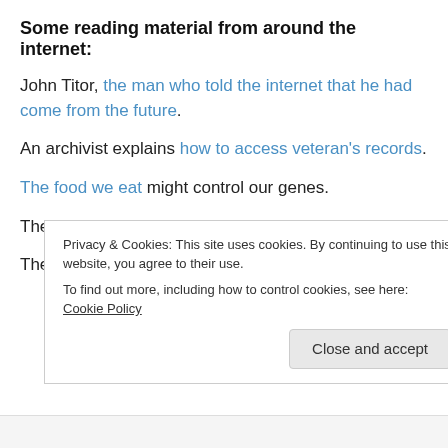Some reading material from around the internet:
John Titor, the man who told the internet that he had come from the future.
An archivist explains how to access veteran's records.
The food we eat might control our genes.
The secret of Madame Tussaud's success.
The strategies of a preschool teacher.
Privacy & Cookies: This site uses cookies. By continuing to use this website, you agree to their use. To find out more, including how to control cookies, see here: Cookie Policy